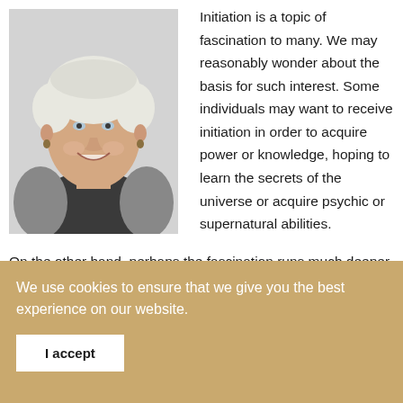[Figure (photo): Headshot of a smiling older woman with short white/grey hair, wearing a dark turtleneck and grey cardigan with a gold necklace, against a light grey background]
Initiation is a topic of fascination to many. We may reasonably wonder about the basis for such interest. Some individuals may want to receive initiation in order to acquire power or knowledge, hoping to learn the secrets of the universe or acquire psychic or supernatural abilities. On the other hand, perhaps the fascination runs much deeper. It may be because on some level we recognize that, as souls, we are
We use cookies to ensure that we give you the best experience on our website.
I accept